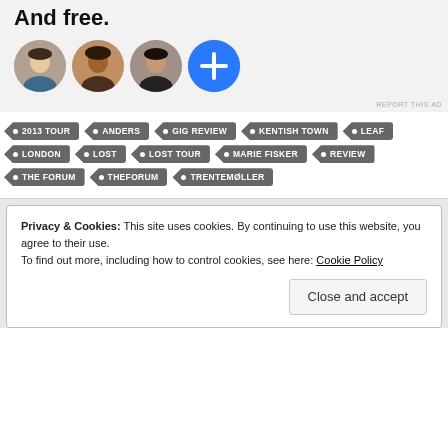[Figure (illustration): Ad banner with bold text 'And free.' and four circular avatars (three person photos and one blue circle with a plus sign)]
REPORT THIS AD
2013 TOUR
ANDERS
GIG REVIEW
KENTISH TOWN
LEAF
LONDON
LOST
LOST TOUR
MARIE FISKER
REVIEW
THE FORUM
THEFORUM
TRENTEMØLLER
Privacy & Cookies: This site uses cookies. By continuing to use this website, you agree to their use. To find out more, including how to control cookies, see here: Cookie Policy
Close and accept